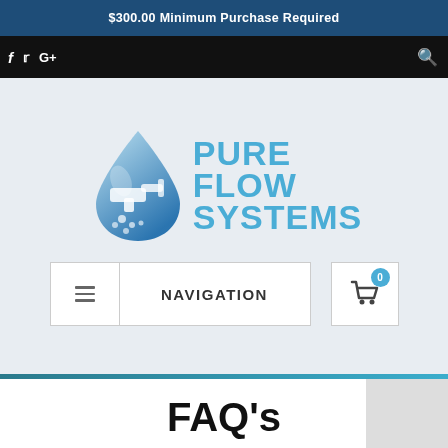$300.00 Minimum Purchase Required
[Figure (logo): Pure Flow Systems logo with water drop and faucet icon]
NAVIGATION
FAQ's